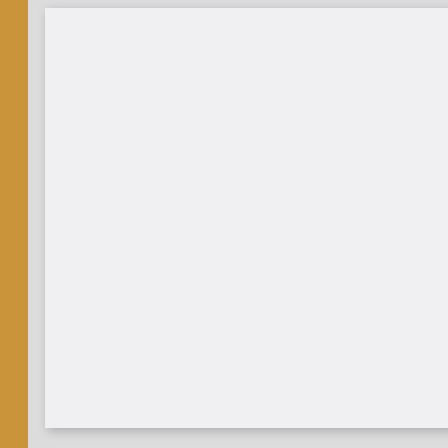[Figure (screenshot): Left panel showing a wooden-border website layout with a light gray content area/paper block, partially visible sidebar]
Categories: Texaspecific | Lea…
← OLDER POST
Leave a Reply
Your email address will not be…
Comment *
Name *
Email *